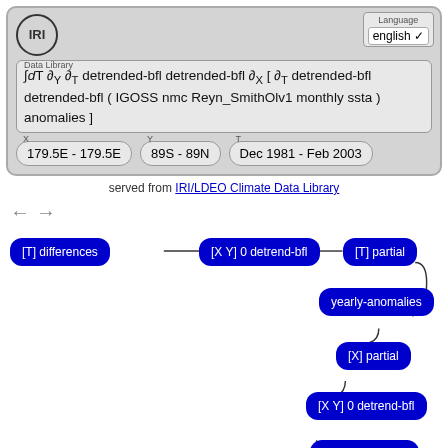[Figure (screenshot): IRI Data Library web interface header with logo, language selector, formula expression, and coordinate range boxes]
served from IRI/LDEO Climate Data Library
[Figure (flowchart): Flowchart showing data processing pipeline: [T] differences -> [X Y] 0 detrend-bfl -> [T] partial -> yearly-anomalies -> [X] partial -> [X Y] 0 detrend-bfl -> [Y] 0 detrend-bfl -> [T] partial -> (more nodes)]